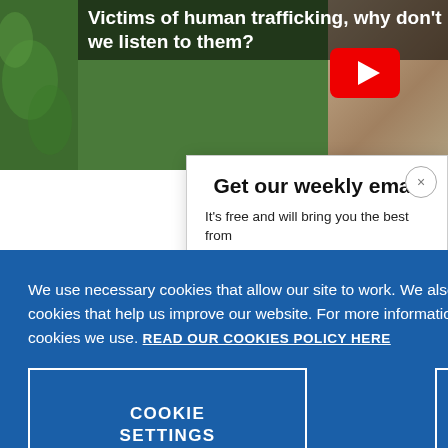[Figure (screenshot): Video thumbnail showing text 'Victims of human trafficking, why don't we listen to them?' with a YouTube play button and a person wearing glasses in the background, set against a green background.]
Get our weekly email
It's free and will bring you the best from
We use necessary cookies that allow our site to work. We also set optional cookies that help us improve our website. For more information about the types of cookies we use. READ OUR COOKIES POLICY HERE
COOKIE SETTINGS
ALLOW ALL COOKIES
data.
other wo